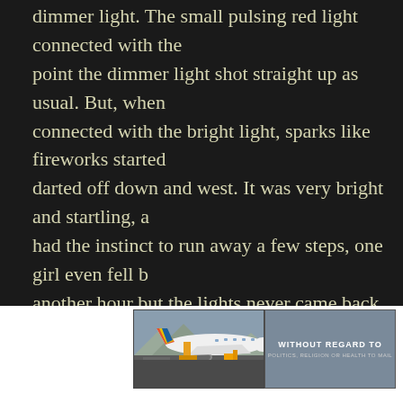dimmer light. The small pulsing red light connected with the point the dimmer light shot straight up as usual. But, when connected with the bright light, sparks like fireworks started darted off down and west. It was very bright and startling, a had the instinct to run away a few steps, one girl even fell b another hour but the lights never came back and the helico
The following Monday, there were stories in the local paper spotting the bright light with fireworks coming out of the bac They were dismissed as meteor sightings. The thing that ne sightings in the paper matched the description of how the b of the light show but the witnesses saw it on Sunday aroun on Saturday around 7:30PM. I cant explain what we saw th looked many times, I never saw anything like it again. I still clippings from that weekend today - MUFON CMS
[Figure (photo): Photograph of a Southwest Airlines plane on the tarmac with cargo loading equipment, alongside an advertisement banner reading 'WITHOUT REGARD TO POLITICS, RELIGION OR HEALTH TO MAIL']